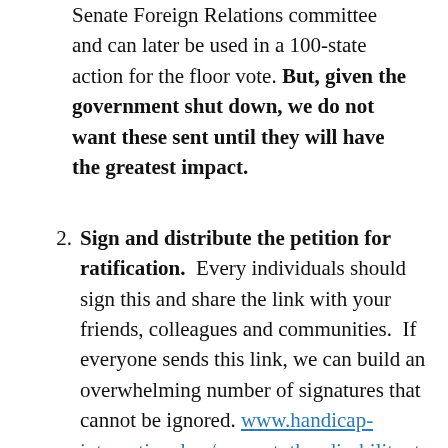Senate Foreign Relations committee and can later be used in a 100-state action for the floor vote. But, given the government shut down, we do not want these sent until they will have the greatest impact.
Sign and distribute the petition for ratification. Every individuals should sign this and share the link with your friends, colleagues and communities. If everyone sends this link, we can build an overwhelming number of signatures that cannot be ignored. www.handicap-international.us/support_the_disability_treaty
Increase and spread your social media. TWEET DAILY. Direct Tweets of